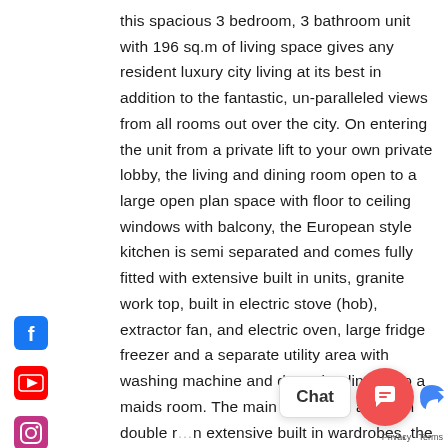this spacious 3 bedroom, 3 bathroom unit with 196 sq.m of living space gives any resident luxury city living at its best in addition to the fantastic, un-paralleled views from all rooms out over the city. On entering the unit from a private lift to your own private lobby, the living and dining room open to a large open plan space with floor to ceiling windows with balcony, the European style kitchen is semi separated and comes fully fitted with extensive built in units, granite work top, built in electric stove (hob), extractor fan, and electric oven, large fridge freezer and a separate utility area with washing machine and dryer, leading off to a maids room. The main bedrooms are both double r…n extensive built in wardrobes, the master
[Figure (other): Social media icons sidebar: Facebook, YouTube, Instagram, LinkedIn]
[Figure (other): Chat widget overlay with coral/red circular chat button and 'Chat' label bubble]